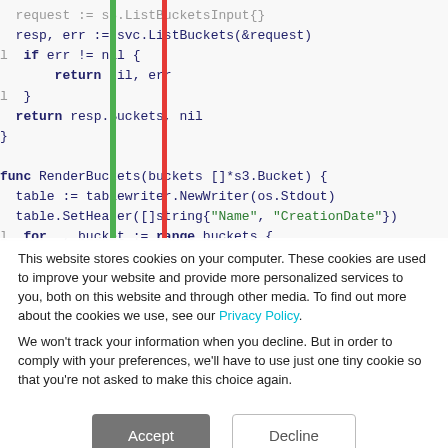[Figure (screenshot): Code snippet in Go language showing S3 bucket listing and rendering functions, with green and red vertical bars on the left side of the code]
This website stores cookies on your computer. These cookies are used to improve your website and provide more personalized services to you, both on this website and through other media. To find out more about the cookies we use, see our Privacy Policy.

We won't track your information when you decline. But in order to comply with your preferences, we'll have to use just one tiny cookie so that you're not asked to make this choice again.